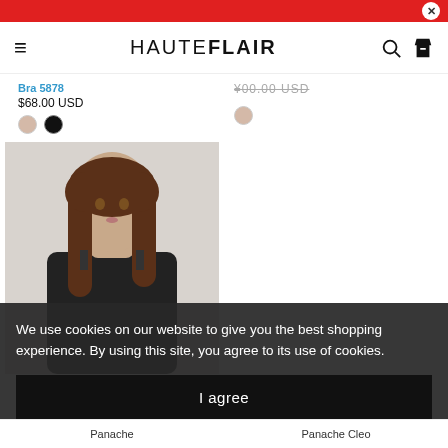HAUTEFLAIR
Bra 5878
$68.00 USD
[Figure (photo): Woman wearing a black bra, standing against a light grey background. She has long brown hair.]
We use cookies on our website to give you the best shopping experience. By using this site, you agree to its use of cookies.
I agree
Panache
Panache Cleo